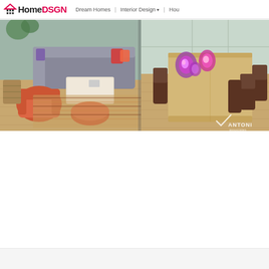HomeDSGN | Dream Homes | Interior Design | Hou...
[Figure (photo): Interior design photo showing two scenes: left side features a modern living room with a gray L-shaped sofa, orange armchair, orange ottoman, striped rug, and wood flooring; right side shows a dining area with a large wooden table, brown chairs, purple geode stone decorations on the table, and large glass windows. ANTONI watermark visible in bottom right.]